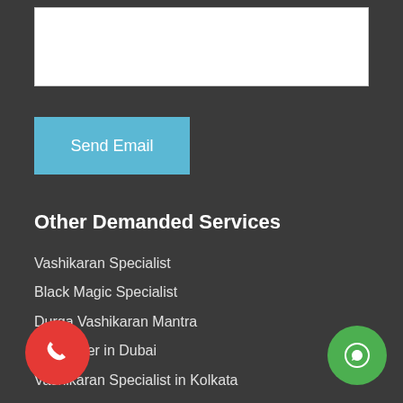[Figure (screenshot): White textarea input box]
[Figure (screenshot): Light blue Send Email button]
Other Demanded Services
Vashikaran Specialist
Black Magic Specialist
Durga Vashikaran Mantra
Astrologer in Dubai
Vashikaran Specialist in Kolkata
G... Mantra
A...er in Kenya
Wazifa To Get Love
[Figure (illustration): Red circle phone call button at bottom left]
[Figure (illustration): Green circle WhatsApp button at bottom right]